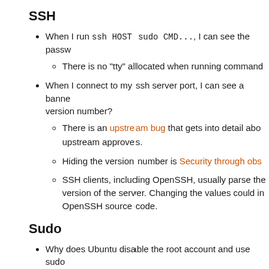SSH
When I run ssh HOST sudo CMD..., I can see the passw
There is no "tty" allocated when running command
When I connect to my ssh server port, I can see a banner with the version number?
There is an upstream bug that gets into detail about... upstream approves.
Hiding the version number is Security through obs...
SSH clients, including OpenSSH, usually parse the version of the server. Changing the values could in... OpenSSH source code.
Sudo
Why does Ubuntu disable the root account and use sudo
See RootSudo for a thorough discussion, but simpl
protecting the user from accidentally damag
providing a log audit trail
preventing brute-force login and ssh attacks